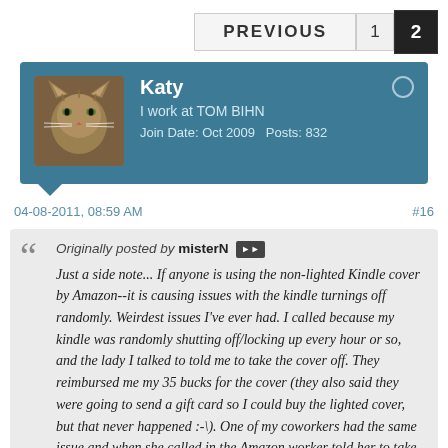PREVIOUS  1  2
[Figure (photo): User avatar photo of a cat (tabby), used as profile picture for forum user Katy]
Katy
I work at TOM BIHN
Join Date: Oct 2009   Posts: 832
04-08-2011, 08:59 AM
#16
Originally posted by misterN
Just a side note... If anyone is using the non-lighted Kindle cover by Amazon--it is causing issues with the kindle turnings off randomly. Weirdest issues I've ever had. I called because my kindle was randomly shutting off/locking up every hour or so, and the lady I talked to told me to take the cover off. They reimbursed me my 35 bucks for the cover (they also said they were going to send a gift card so I could buy the lighted cover, but that never happened :-\). One of my coworkers had the same issue and when she called in the Amazon worker told her to take off the cover and throw it across the room ^_^